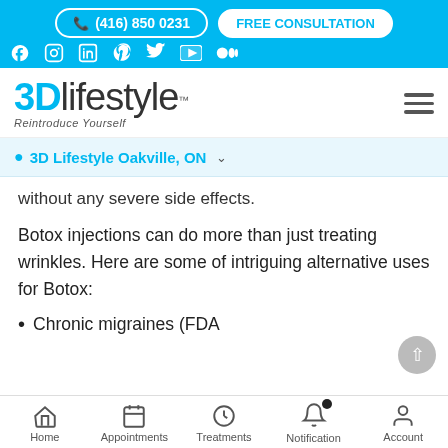(416) 850 0231 | FREE CONSULTATION | Social icons: Facebook, Instagram, LinkedIn, Pinterest, Twitter, YouTube, Medium
[Figure (logo): 3D Lifestyle logo with tagline 'Reintroduce Yourself' and hamburger menu icon]
3D Lifestyle Oakville, ON
without any severe side effects.
Botox injections can do more than just treating wrinkles. Here are some of intriguing alternative uses for Botox:
Chronic migraines (FDA
Home | Appointments | Treatments | Notification | Account